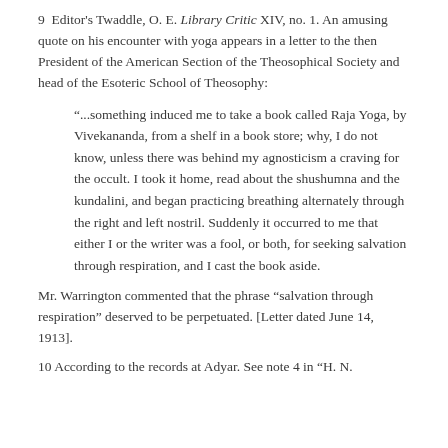9  Editor's Twaddle, O. E. Library Critic XIV, no. 1. An amusing quote on his encounter with yoga appears in a letter to the then President of the American Section of the Theosophical Society and head of the Esoteric School of Theosophy:
"...something induced me to take a book called Raja Yoga, by Vivekananda, from a shelf in a book store; why, I do not know, unless there was behind my agnosticism a craving for the occult. I took it home, read about the shushumna and the kundalini, and began practicing breathing alternately through the right and left nostril. Suddenly it occurred to me that either I or the writer was a fool, or both, for seeking salvation through respiration, and I cast the book aside.
Mr. Warrington commented that the phrase “salvation through respiration” deserved to be perpetuated. [Letter dated June 14, 1913].
10  According to the records at Adyar. See note 4 in “H. N.